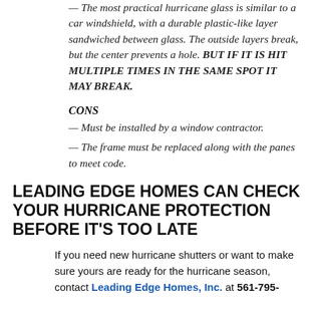— The most practical hurricane glass is similar to a car windshield, with a durable plastic-like layer sandwiched between glass. The outside layers break, but the center prevents a hole. BUT IF IT IS HIT MULTIPLE TIMES IN THE SAME SPOT IT MAY BREAK.
CONS
— Must be installed by a window contractor.
— The frame must be replaced along with the panes to meet code.
LEADING EDGE HOMES CAN CHECK YOUR HURRICANE PROTECTION BEFORE IT'S TOO LATE
If you need new hurricane shutters or want to make sure yours are ready for the hurricane season, contact Leading Edge Homes, Inc. at 561-795-